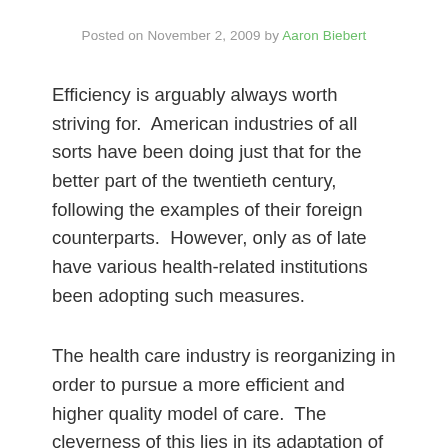Posted on November 2, 2009 by Aaron Biebert
Efficiency is arguably always worth striving for.  American industries of all sorts have been doing just that for the better part of the twentieth century, following the examples of their foreign counterparts.  However, only as of late have various health-related institutions been adopting such measures.
The health care industry is reorganizing in order to pursue a more efficient and higher quality model of care.  The cleverness of this lies in its adaptation of a particular manufacturing scheme known as "lean" organizati